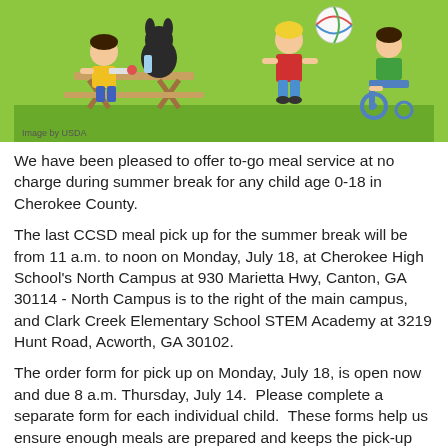[Figure (illustration): Cartoon illustration of children having a meal outdoors and playing, with a green background. Image credit: Image by USDA.]
We have been pleased to offer to-go meal service at no charge during summer break for any child age 0-18 in Cherokee County.
The last CCSD meal pick up for the summer break will be from 11 a.m. to noon on Monday, July 18, at Cherokee High School's North Campus at 930 Marietta Hwy, Canton, GA 30114 - North Campus is to the right of the main campus, and Clark Creek Elementary School STEM Academy at 3219 Hunt Road, Acworth, GA 30102.
The order form for pick up on Monday, July 18, is open now and due 8 a.m. Thursday, July 14.  Please complete a separate form for each individual child.  These forms help us ensure enough meals are prepared and keeps the pick-up line moving as quickly as possible.
Click on the link below to order meals for your student: CCSD School Nutrition Meal Order Form (https://bit.ly/CCSDsummer22)